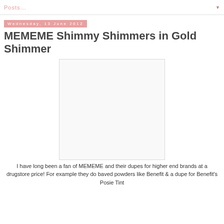Posts...
Wednesday, 13 June 2012
MEMEME Shimmy Shimmers in Gold Shimmer
[Figure (photo): Blank/white image placeholder for product photo]
I have long been a fan of MEMEME and their dupes for higher end brands at a drugstore price! For example they do baved powders like Benefit & a dupe for Benefit's Posie Tint